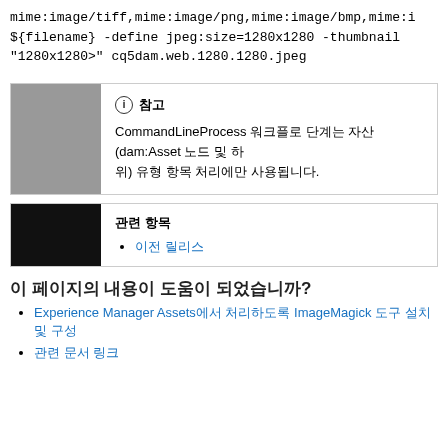mime:image/tiff,mime:image/png,mime:image/bmp,mime:i ${filename} -define jpeg:size=1280x1280 -thumbnail "1280x1280>" cq5dam.web.1280.1280.jpeg
ⓘ 참고
CommandLineProcess 워크플로 단계는 자산(dam:Asset 노드 및 하위) 유형 항목 처리에만 사용됩니다.
관련 항목
• 이전 릴리스
이 페이지의 내용이 도움이 되었습니까?
Experience Manager Assets에서 처리하도록 ImageMagick 도구 설치 및 구성
관련 문서 링크